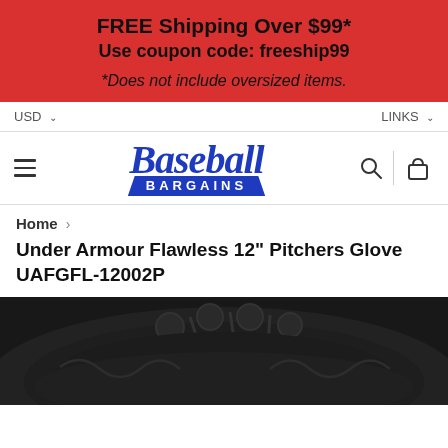FREE Shipping Over $99* Use coupon code: freeship99 *Does not include oversized items.
USD  LINKS
[Figure (logo): Baseball Bargains logo with blue script 'Baseball' text and red 'BARGAINS' banner below]
Home >
Under Armour Flawless 12" Pitchers Glove UAFGFL-12002P
[Figure (photo): Close-up photo of a black Under Armour Flawless 12 inch baseball pitcher's glove showing leather and lacing detail]